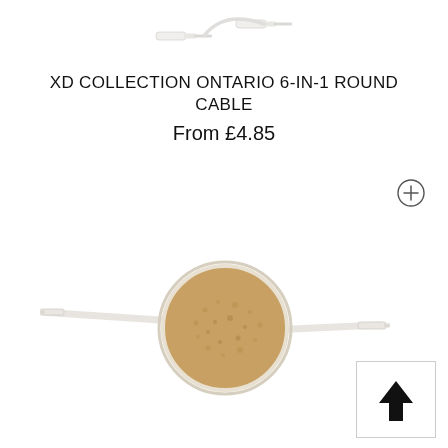[Figure (photo): Partial view of white cable connectors (USB/Lightning) on white background, cropped at top]
XD COLLECTION ONTARIO 6-IN-1 ROUND CABLE
From £4.85
[Figure (photo): Round cork-faced cable organizer/retractable cable with beige/cream cable ends extending on both sides, on white background]
[Figure (other): Circular plus (+) button icon in outline style]